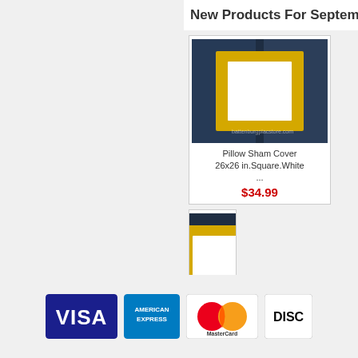New Products For September - H
[Figure (photo): Pillow sham cover with yellow border on dark background]
Pillow Sham Cover 26x26 in.Square.White ...
$34.99
[Figure (photo): Pillow sham with yellow border, partially visible]
Pillow Sham 26x26 in.Squ... ...
$34.9
[Figure (photo): Pillow sham cover with purple border on dark background]
Pillow Sham 26x26 European Square.Cover ...
$34.99
[Figure (photo): Pillow sham cover with yellow border, partially visible]
Pillow Sh Cover.26x Square.W ...
$34.9
[Figure (logo): Payment method logos: Visa, American Express, MasterCard, Discover]